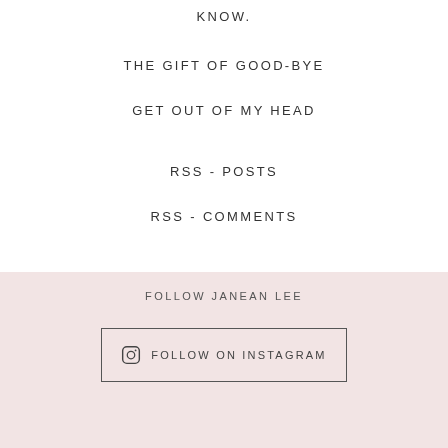KNOW.
THE GIFT OF GOOD-BYE
GET OUT OF MY HEAD
RSS - POSTS
RSS - COMMENTS
FOLLOW JANEAN LEE
FOLLOW ON INSTAGRAM